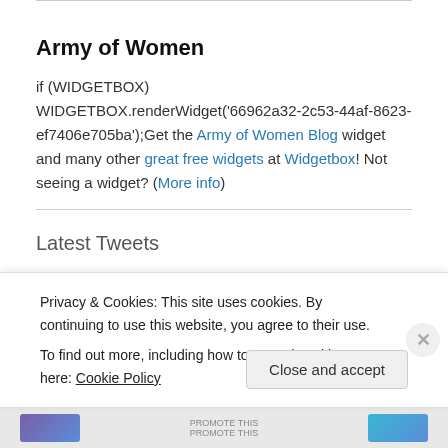Army of Women
if (WIDGETBOX) WIDGETBOX.renderWidget('66962a32-2c53-44af-8623-ef7406e705ba');Get the Army of Women Blog widget and many other great free widgets at Widgetbox! Not seeing a widget? (More info)
Latest Tweets
halloween yarn bomb pinterest.com/pin/1991436147… 9 years ago
Middle School Math Teacher Blog pinterest.com/pin/1991436147…
Privacy & Cookies: This site uses cookies. By continuing to use this website, you agree to their use.
To find out more, including how to control cookies, see here: Cookie Policy